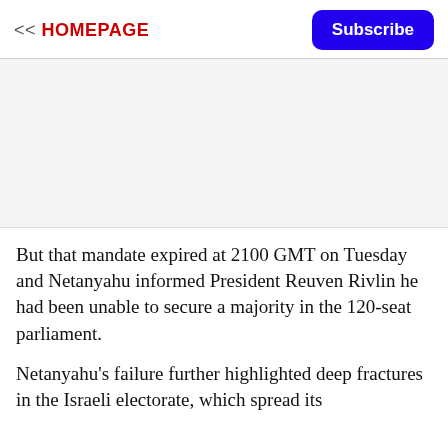<< HOMEPAGE  Subscribe
[Figure (other): Image placeholder area (article photo, blank/white)]
But that mandate expired at 2100 GMT on Tuesday and Netanyahu informed President Reuven Rivlin he had been unable to secure a majority in the 120-seat parliament.
Netanyahu's failure further highlighted deep fractures in the Israeli electorate, which spread its